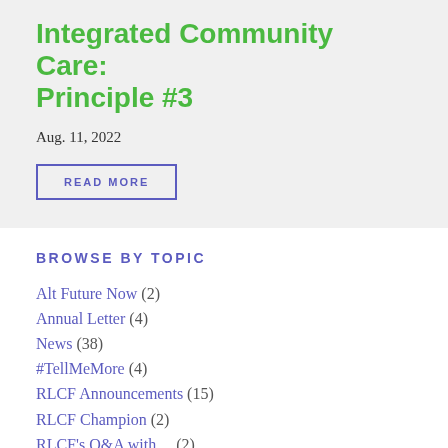Integrated Community Care: Principle #3
Aug. 11, 2022
READ MORE
BROWSE BY TOPIC
Alt Future Now (2)
Annual Letter (4)
News (38)
#TellMeMore (4)
RLCF Announcements (15)
RLCF Champion (2)
RLCF's Q&A with… (2)
Conconi Challenges (12)
Pender Island (4)